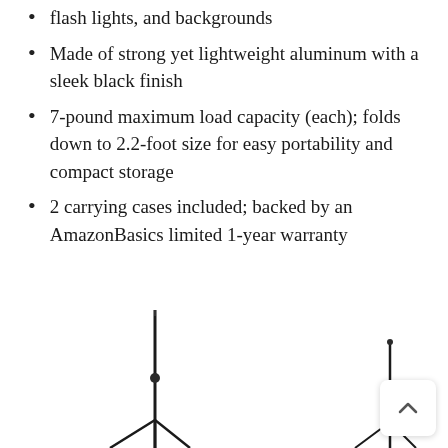flash lights, and backgrounds
Made of strong yet lightweight aluminum with a sleek black finish
7-pound maximum load capacity (each); folds down to 2.2-foot size for easy portability and compact storage
2 carrying cases included; backed by an AmazonBasics limited 1-year warranty
[Figure (photo): Two black aluminum light stands (tripods) shown side by side against a white background. The left stand is taller and shown fully extended; the right stand is shorter, partially visible.]